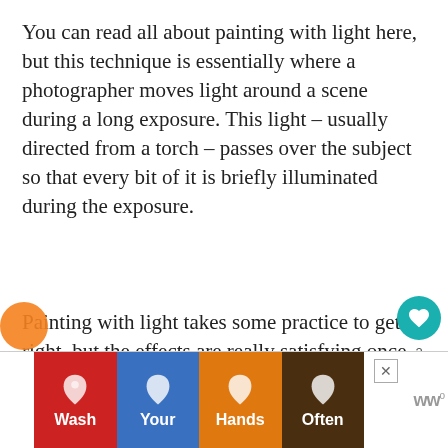You can read all about painting with light here, but this technique is essentially where a photographer moves light around a scene during a long exposure. This light – usually directed from a torch – passes over the subject so that every bit of it is briefly illuminated during the exposure.
Painting with light takes some practice to get right, but the effects are really satisfying once you get the hang of it. It's worth experimenting with different torches, exposure times and white balances to see the full range of effects you can achieve!
[Figure (infographic): Social engagement sidebar with heart/like button showing count of 2 and a share button]
[Figure (infographic): What's Next overlay showing a thumbnail image and text 'Rotolight adds wireless mul...']
[Figure (infographic): Wash Your Hands Often advertisement banner with four colored segments showing hand icons and text]